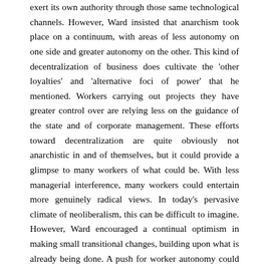exert its own authority through those same technological channels. However, Ward insisted that anarchism took place on a continuum, with areas of less autonomy on one side and greater autonomy on the other. This kind of decentralization of business does cultivate the 'other loyalties' and 'alternative foci of power' that he mentioned. Workers carrying out projects they have greater control over are relying less on the guidance of the state and of corporate management. These efforts toward decentralization are quite obviously not anarchistic in and of themselves, but it could provide a glimpse to many workers of what could be. With less managerial interference, many workers could entertain more genuinely radical views. In today's pervasive climate of neoliberalism, this can be difficult to imagine. However, Ward encouraged a continual optimism in making small transitional changes, building upon what is already being done. A push for worker autonomy could become more than a management tactic for incentivising labour...